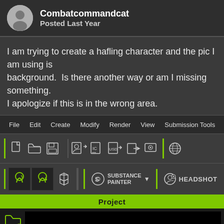Combatcommandcat
Posted Last Year
I am trying to create a hafling character and the pic I am using is background.  Is there another way or am I missing something.
I apologize if this is in the wrong area.
[Figure (screenshot): Screenshot of a 3D software application (likely DAZ Studio or similar) showing a menu bar with File, Edit, Create, Modify, Render, View, Submission Tools, Wi... and two toolbars with various icons including green separator bars, tool icons, Substance Painter button with dropdown, and HEADSHOT button. Below the toolbars is a green Project bar and a dark project panel with a folder settings icon.]